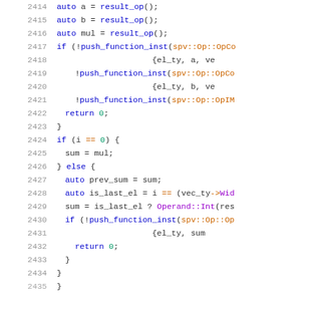[Figure (screenshot): Source code listing showing C++ code lines 2414-2434, with syntax highlighting. Line numbers in grey on left, code on right with blue keywords, orange operators/namespaces, purple class names, green numeric literals.]